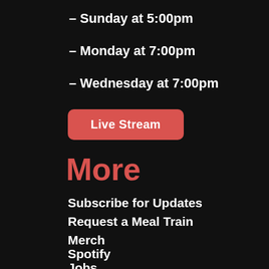– Sunday at 5:00pm
– Monday at 7:00pm
– Wednesday at 7:00pm
Live Stream
More
Subscribe for Updates
Request a Meal Train
Merch
Spotify
Jobs